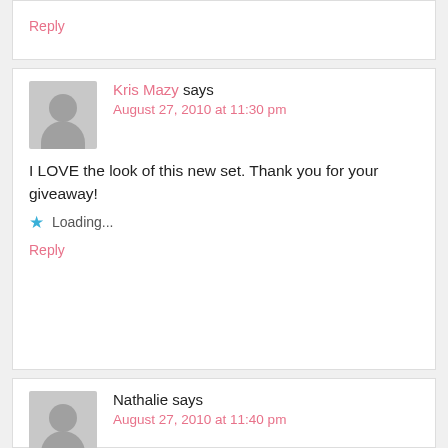Reply
Kris Mazy says
August 27, 2010 at 11:30 pm
I LOVE the look of this new set. Thank you for your giveaway!
Loading...
Reply
Nathalie says
August 27, 2010 at 11:40 pm
Oh sweet Tina, didn't have time to join the speed scrap but I love the change of winning your goodies!
Loading...